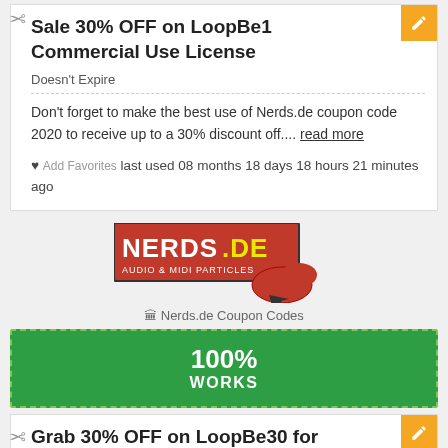Sale 30% OFF on LoopBe1 Commercial Use License
Doesn't Expire
Don't forget to make the best use of Nerds.de coupon code 2020 to receive up to a 30% discount off.... read more
♥ Add Favorites last used 08 months 18 days 18 hours 21 minutes ago
[Figure (logo): Nerds.de logo — red background with white bold NERDS.DE text, subtitle AUDIO & MIDI PARTICLES, with a red abstract shape and cursor icon]
🏛 Nerds.de Coupon Codes
100% WORKS
Grab 30% OFF on LoopBe30 for